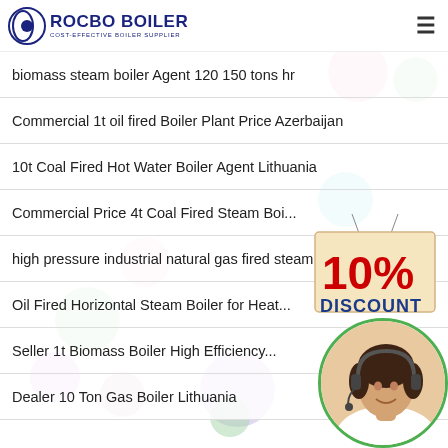ROCBO BOILER - COST-EFFECTIVE BOILER SUPPLIER
biomass steam boiler Agent 120 150 tons hr
Commercial 1t oil fired Boiler Plant Price Azerbaijan
10t Coal Fired Hot Water Boiler Agent Lithuania
Commercial Price 4t Coal Fired Steam Boi...
high pressure industrial natural gas fired steam boiler
Oil Fired Horizontal Steam Boiler for Heat...
Seller 1t Biomass Boiler High Efficiency...
Dealer 10 Ton Gas Boiler Lithuania
[Figure (infographic): 10% DISCOUNT badge/sign hanging graphic in red and tan colors]
[Figure (photo): Customer service representative woman wearing headset, circular cropped photo]